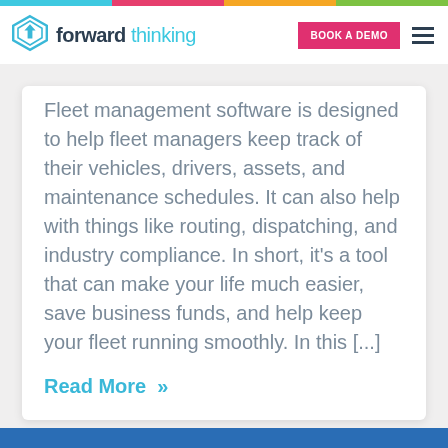[Figure (logo): Forward Thinking logo with geometric arrow icon and company name]
Fleet management software is designed to help fleet managers keep track of their vehicles, drivers, assets, and maintenance schedules. It can also help with things like routing, dispatching, and industry compliance. In short, it's a tool that can make your life much easier, save business funds, and help keep your fleet running smoothly. In this [...]
Read More »